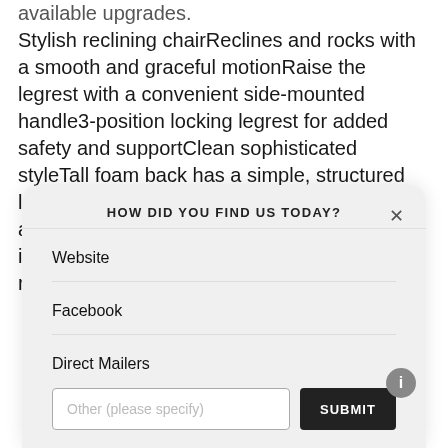available upgrades. Stylish reclining chairReclines and rocks with a smooth and graceful motionRaise the legrest with a convenient side-mounted handle3-position locking legrest for added safety and supportClean sophisticated styleTall foam back has a simple, structured lookRolled armsWelt trim on the arms, seat and backDouble-picked blown fiber fill for improved cushion loft and shape retentionHigh
[Figure (screenshot): A modal dialog titled 'HOW DID YOU FIND US TODAY?' with a close (X) button. Options listed: Website, Facebook, Direct Mailers. At the bottom, a text input placeholder 'Other (please specify)' and a black SUBMIT button. An info (i) button is visible at the bottom right.]